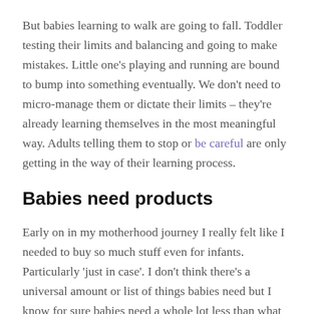But babies learning to walk are going to fall. Toddler testing their limits and balancing and going to make mistakes. Little one's playing and running are bound to bump into something eventually. We don't need to micro-manage them or dictate their limits – they're already learning themselves in the most meaningful way. Adults telling them to stop or be careful are only getting in the way of their learning process.
Babies need products
Early on in my motherhood journey I really felt like I needed to buy so much stuff even for infants. Particularly 'just in case'. I don't think there's a universal amount or list of things babies need but I know for sure babies need a whole lot less than what